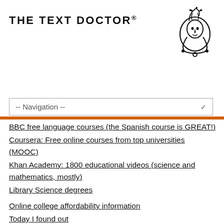THE TEXT DOCTOR®
[Figure (logo): The Text Doctor logo — a stylized head/face illustration with stethoscope, drawn in black ink]
-- Navigation --
BBC free language courses (the Spanish course is GREAT!)
Coursera: Free online courses from top universities (MOOC)
Khan Academy: 1800 educational videos (science and mathematics, mostly)
Library Science degrees
Online college affordability information
Today I found out
Varsity Tutors: free practice tests on over 120 subjects
World Public Library